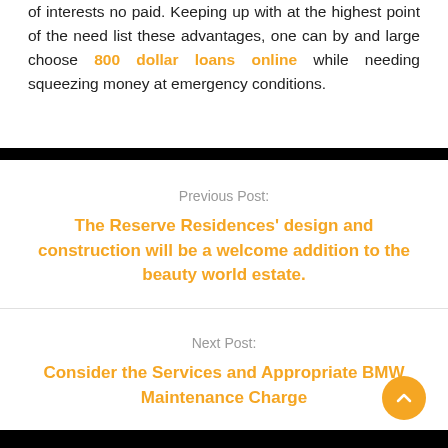of interests no paid. Keeping up with at the highest point of the need list these advantages, one can by and large choose 800 dollar loans online while needing squeezing money at emergency conditions.
Previous Post:
The Reserve Residences' design and construction will be a welcome addition to the beauty world estate.
Next Post:
Consider the Services and Appropriate BMW Maintenance Charge